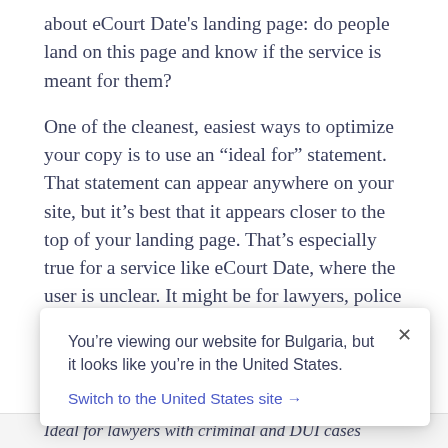about eCourt Date's landing page: do people land on this page and know if the service is meant for them?
One of the cleanest, easiest ways to optimize your copy is to use an “ideal for” statement. That statement can appear anywhere on your site, but it’s best that it appears closer to the top of your landing page. That’s especially true for a service like eCourt Date, where the user is unclear. It might be for lawyers, police officers, the court, defendants and plaintiffs—maybe even those serving jury duty.
You’re viewing our website for Bulgaria, but it looks like you’re in the United States.
Switch to the United States site →
Ideal for lawyers with criminal and DUI cases